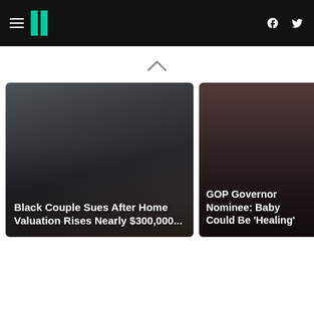HuffPost navigation header with hamburger menu, logo, Facebook and Twitter icons
[Figure (screenshot): Chevron/caret up arrow indicating scroll up]
[Figure (photo): News card: photo of brick building and roof with dark overlay. Headline: Black Couple Sues After Home Valuation Rises Nearly $300,000...]
[Figure (photo): News card: photo of a person (cropped face) with dark overlay. Headline: GOP Governor Nominee: Baby Could Be 'Healing']